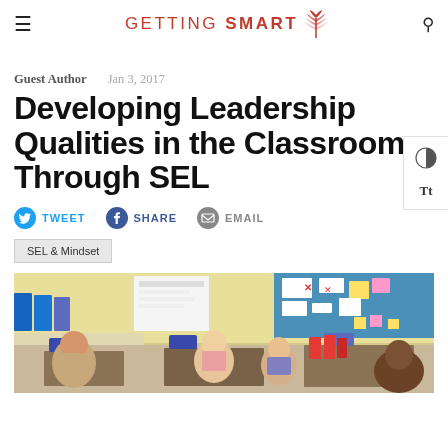GETTING SMART
Guest Author   Jan 3, 2017
Developing Leadership Qualities in the Classroom Through SEL
TWEET   SHARE   EMAIL
SEL & Mindset
[Figure (photo): Classroom photo showing children seated at desks with colorful binders and posters on the wall in the background]